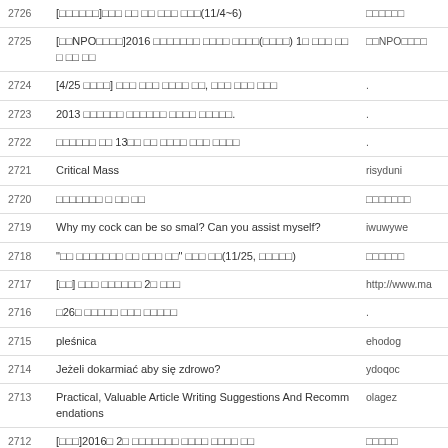| # | Title | Author |
| --- | --- | --- |
| 2726 | [□□□□□□]□□□ □□ □□ □□□ □□□(11/4~6) | □□□□□□ |
| 2725 | [□□NPO□□□□]2016 □□□□□□□ □□□□ □□□□(□□□□) 1□ □□□ □□□ □□ □□ | □□NPO□□□□ |
| 2724 | [4/25 □□□□] □□□ □□□ □□□□ □□, □□□ □□□ □□□ | . |
| 2723 | 2013 □□□□□□ □□□□□□ □□□□ □□□□□. | . |
| 2722 | □□□□□□ □□ 13□□ □□ □□□□ □□□ □□□□ | . |
| 2721 | Critical Mass | risyduni |
| 2720 | □□□□□□□ □ □□ □□ | □□□□□□□ |
| 2719 | Why my cock can be so smal? Can you assist myself? | iwuwywe |
| 2718 | "□□ □□□□□□□ □□ □□□ □□" □□□ □□(11/25, □□□□□) | □□□□□□ |
| 2717 | [□□] □□□ □□□□□□ 2□ □□□ | http://www.ma |
| 2716 | □26□ □□□□□ □□□ □□□□□ | . |
| 2715 | pleśnica | ehodog |
| 2714 | Jeżeli dokarmiać aby się zdrowo? | ydoqoc |
| 2713 | Practical, Valuable Article Writing Suggestions And Recommendations | olagez |
| 2712 | [□□□]2016□ 2□ □□□□□□□ □□□□ □□□□ □□ | □□□□□ |